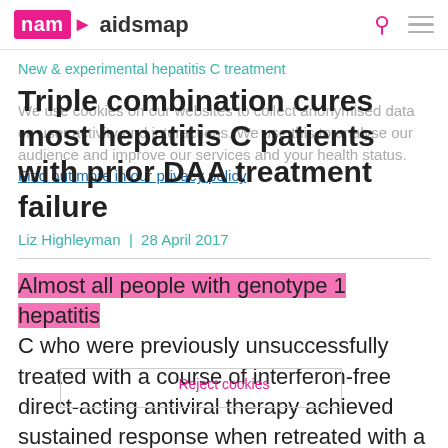nam aidsmap
New & experimental hepatitis C treatment
Triple combination cures most hepatitis C patients with prior DAA treatment failure
Liz Highleyman | 28 April 2017
Almost all people with genotype 1 hepatitis C who were previously unsuccessfully treated with a course of interferon-free direct-acting antiviral therapy achieved sustained response when retreated with a
We use cookies on our websites to collect anonymised data on user activity and interactions. We use this to analyse our audience and improve our services and your health status. Find out more in our privacy policy
Reject cookies